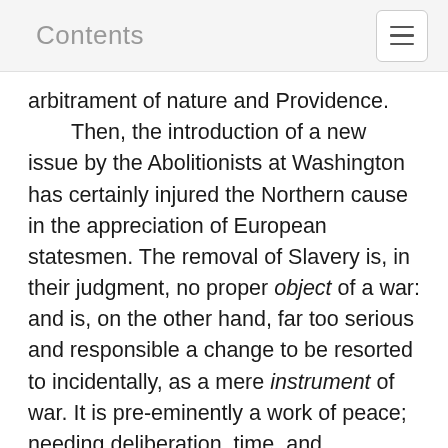Contents
arbitrament of nature and Providence.
    Then, the introduction of a new issue by the Abolitionists at Washington has certainly injured the Northern cause in the appreciation of European statesmen. The removal of Slavery is, in their judgment, no proper object of a war: and is, on the other hand, far too serious and responsible a change to be resorted to incidentally, as a mere instrument of war. It is pre-eminently a work of peace; needing deliberation, time, and organized vigilance and control: and to inaugurate it in the heat and haste of conflict, to impose it as a military penalty, to identify it with confiscation and attainder, is to do all that is possible to make it hateful and hopeless. This, at least, is the view taken, so far I can observe, by all our most